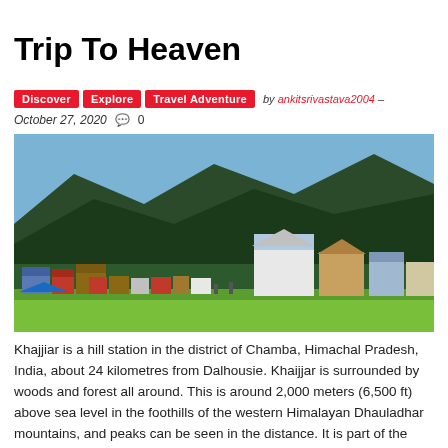Trip To Heaven
Discover  Explore  Travel Adventure  by ankitsrivastava2004 –
October 27, 2020  💬 0
[Figure (photo): Scenic view of Khajjiar hill station with green meadows, wooden buildings, dense pine forest and mountain backdrop in Himachal Pradesh, India]
Khajjiar is a hill station in the district of Chamba, Himachal Pradesh, India, about 24 kilometres from Dalhousie. Khaijjar is surrounded by woods and forest all around. This is around 2,000 meters (6,500 ft) above sea level in the foothills of the western Himalayan Dhauladhar mountains, and peaks can be seen in the distance. It is part of the Kalatop Khajjiar Slate Khatte and can be reached by the route of some from Dalhousie.